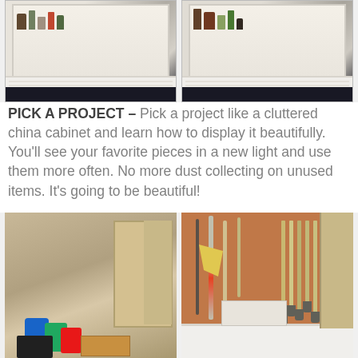[Figure (photo): Two side-by-side photos of a china cabinet with glass doors, showing items stored inside on shelves, with white wainscoting below.]
PICK A PROJECT – Pick a project like a cluttered china cabinet and learn how to display it beautifully. You'll see your favorite pieces in a new light and use them more often. No more dust collecting on unused items. It's going to be beautiful!
[Figure (photo): Two side-by-side before-and-after photos of a garage: left shows a cluttered garage with bags, boxes, and items on the floor; right shows an organized garage with tools neatly hung on a pegboard wall and garden tools in a rack.]